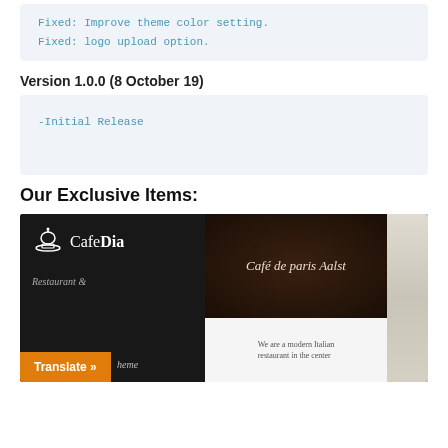Fixed: Improve theme color setting.
Fixed: logo upload option.
Version 1.0.0 (8 October 19)
-Initial Release
Our Exclusive Items:
[Figure (screenshot): CafeDia restaurant WordPress theme promotional image showing the CafeDia logo, 'Café de paris Aalst' website screenshot, restaurant and theme text, orange Translate button]